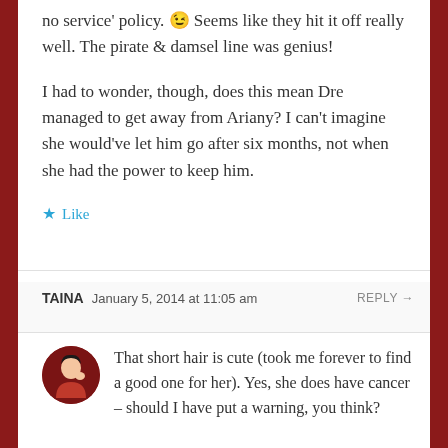no service' policy. 😉 Seems like they hit it off really well. The pirate & damsel line was genius!
I had to wonder, though, does this mean Dre managed to get away from Ariany? I can't imagine she would've let him go after six months, not when she had the power to keep him.
★ Like
TAINA  January 5, 2014 at 11:05 am  REPLY →
That short hair is cute (took me forever to find a good one for her). Yes, she does have cancer – should I have put a warning, you think?